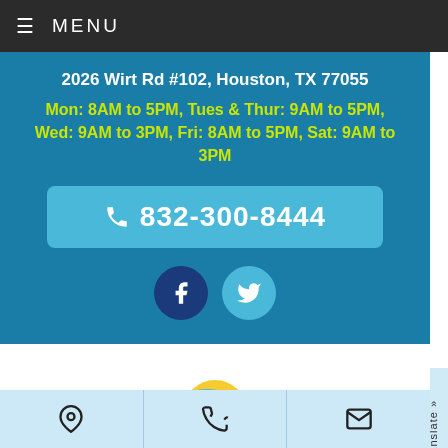≡ MENU
2026 Wirt Rd #102, Houston, TX 77055
Mon: 8AM to 5PM, Tues & Thur: 9AM to 5PM, Wed: 9AM to 3PM, Fri: 8AM to 5PM, Sat: 9AM to 3PM
832-300-8444
[Figure (logo): Kids dental whale mascot logo with colorful text]
Translate »